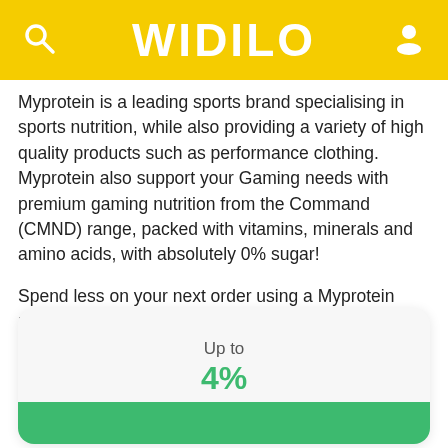WIDILO
Myprotein is a leading sports brand specialising in sports nutrition, while also providing a variety of high quality products such as performance clothing. Myprotein also support your Gaming needs with premium gaming nutrition from the Command (CMND) range, packed with vitamins, minerals and amino acids, with absolutely 0% sugar!
Spend less on your next order using a Myprotein promo code or Myprotein Cashback option found on Widilo.
Up to
4%